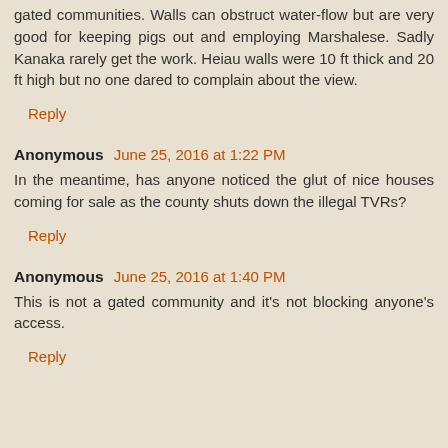gated communities. Walls can obstruct water-flow but are very good for keeping pigs out and employing Marshalese. Sadly Kanaka rarely get the work. Heiau walls were 10 ft thick and 20 ft high but no one dared to complain about the view.
Reply
Anonymous June 25, 2016 at 1:22 PM
In the meantime, has anyone noticed the glut of nice houses coming for sale as the county shuts down the illegal TVRs?
Reply
Anonymous June 25, 2016 at 1:40 PM
This is not a gated community and it's not blocking anyone's access.
Reply